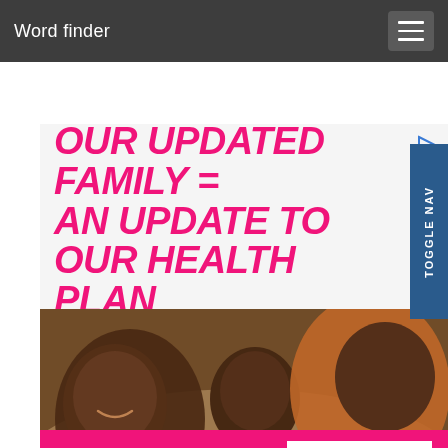Word finder
[Figure (infographic): HealthCare.gov advertisement banner showing a family (father, mother, and baby) lying together, with headline 'OUR UPDATED FAMILY = AN UPDATE TO OUR HEALTH PLAN', HealthCare.gov logo and LEARN MORE button on pink background bar]
OUR UPDATED FAMILY = AN UPDATE TO OUR HEALTH PLAN
HealthCare.gov  LEARN MORE